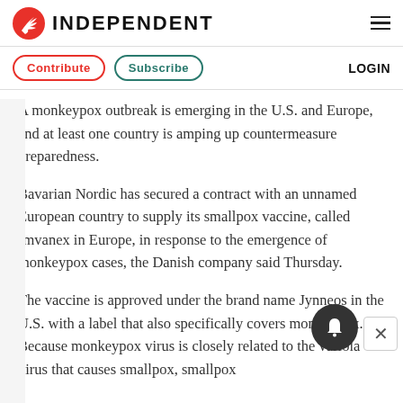INDEPENDENT
Contribute   Subscribe   LOGIN
A monkeypox outbreak is emerging in the U.S. and Europe, and at least one country is amping up countermeasure preparedness.
Bavarian Nordic has secured a contract with an unnamed European country to supply its smallpox vaccine, called Imvanex in Europe, in response to the emergence of monkeypox cases, the Danish company said Thursday.
The vaccine is approved under the brand name Jynneos in the U.S. with a label that also specifically covers monkeypox. Because monkeypox virus is closely related to the variola virus that causes smallpox, smallpox